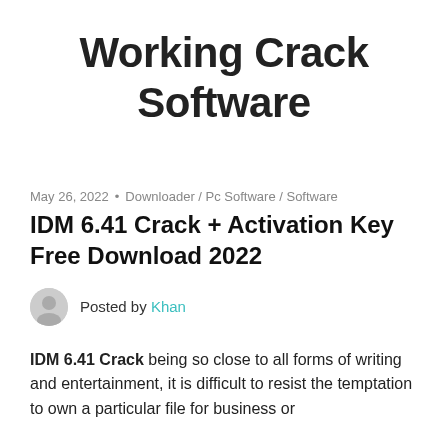Working Crack Software
May 26, 2022 • Downloader / Pc Software / Software
IDM 6.41 Crack + Activation Key Free Download 2022
Posted by Khan
IDM 6.41 Crack being so close to all forms of writing and entertainment, it is difficult to resist the temptation to own a particular file for business or